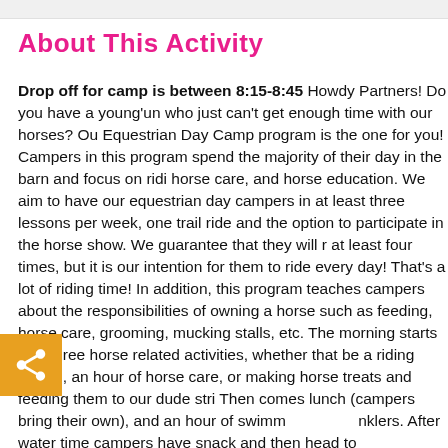About This Activity
Drop off for camp is between 8:15-8:45 Howdy Partners! Do you have a young'un who just can't get enough time with our horses? Our Equestrian Day Camp program is the one for you! Campers in this program spend the majority of their day in the barn and focus on riding, horse care, and horse education. We aim to have our equestrian day campers in at least three lessons per week, one trail ride and the option to participate in the horse show. We guarantee that they will ride at least four times, but it is our intention for them to ride every day! That's a lot of riding time! In addition, this program teaches campers about the responsibilities of owning a horse such as feeding, horse care, grooming, mucking stalls, etc. The morning starts with three horse related activities, whether that be a riding lesson, an hour of horse care, or making horse treats and feeding them to our dude string. Then comes lunch (campers bring their own), and an hour of swimming/sprinklers. After water time campers have snack and then head to Recreation Period to choose from an array of activities. This program...